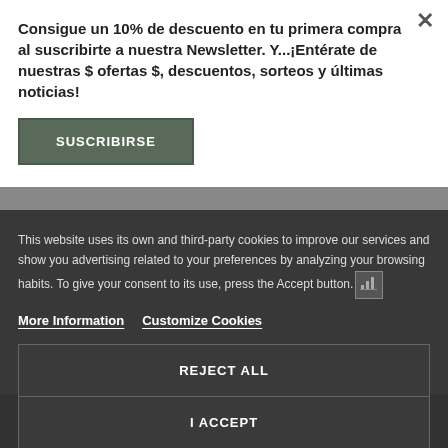Consigue un 10% de descuento en tu primera compra al suscribirte a nuestra Newsletter. Y...¡Entérate de nuestras $ ofertas $, descuentos, sorteos y últimas noticias!
SUSCRIBIRSE
This website uses its own and third-party cookies to improve our services and show you advertising related to your preferences by analyzing your browsing habits. To give your consent to its use, press the Accept button.
More Information
Customize Cookies
REJECT ALL
I ACCEPT
Astrea IMOSCISTA NATI
Entregamos todos los pedidos a partir del 22 de agosto